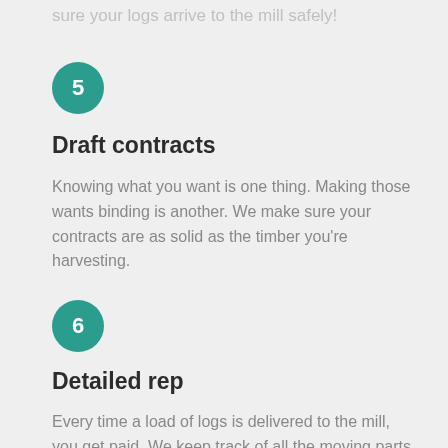sure your logs arrive to the mill safely!
5
Draft contracts
Knowing what you want is one thing. Making those wants binding is another. We make sure your contracts are as solid as the timber you’re harvesting.
6
Detailed rep
Every time a load of logs is delivered to the mill, you get paid. We keep track of all the moving parts and make sure you’re